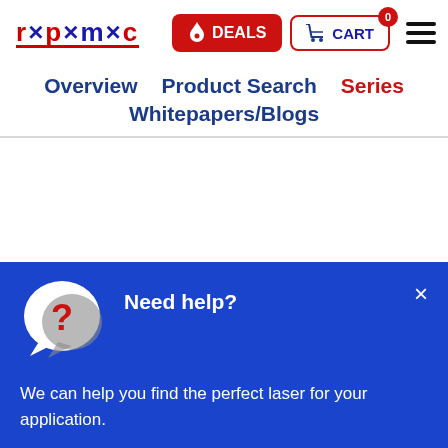r×p×m×c — DEALS — CART 0 — hamburger menu
Overview    Product Search    Series
Whitepapers/Blogs
[Figure (screenshot): Help chat popup panel with question mark icon. Text: Need help? We can help you find the perfect laser for your application.]